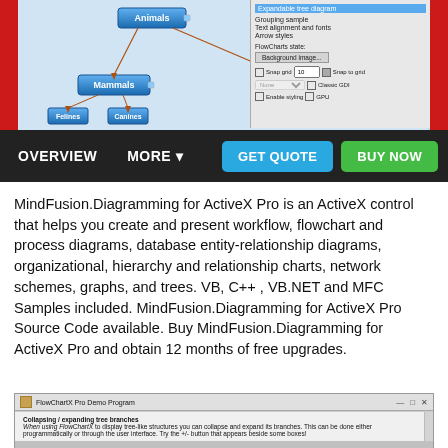[Figure (screenshot): Screenshot of MindFusion Diagramming for ActiveX Pro showing a tree/hierarchy diagram with nodes (Animals, Mammals, Birds) connected by arrows, and a properties panel on the right side. Below the diagram screenshot is a dark navigation bar with OVERVIEW, MORE buttons and GET QUOTE and BUY NOW buttons.]
MindFusion.Diagramming for ActiveX Pro is an ActiveX control that helps you create and present workflow, flowchart and process diagrams, database entity-relationship diagrams, organizational, hierarchy and relationship charts, network schemes, graphs, and trees. VB, C++ , VB.NET and MFC Samples included. MindFusion.Diagramming for ActiveX Pro Source Code available. Buy MindFusion.Diagramming for ActiveX Pro and obtain 12 months of free upgrades.
[Figure (screenshot): Screenshot of FlowChartX Pro Demo Program window showing a section titled 'Collapsing / expanding tree branches' with descriptive text about using FlowChartX to display tree-like structures.]